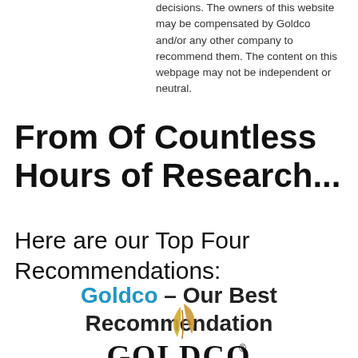decisions. The owners of this website may be compensated by Goldco and/or any other company to recommend them. The content on this webpage may not be independent or neutral.
From Of Countless Hours of Research...
Here are our Top Four Recommendations:
Goldco – Our Best Recommendation
[Figure (logo): Goldco logo with golden flame/leaf icon above stylized GOLDCO text with registered trademark symbol]